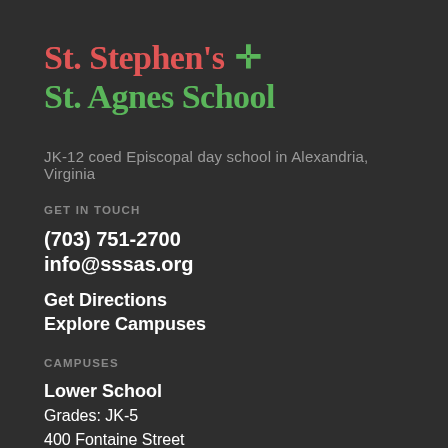St. Stephen's ✛ St. Agnes School
JK-12 coed Episcopal day school in Alexandria, Virginia
GET IN TOUCH
(703) 751-2700
info@sssas.org
Get Directions
Explore Campuses
CAMPUSES
Lower School
Grades: JK-5
400 Fontaine Street
Alexandria, Virginia 22302
Middle School